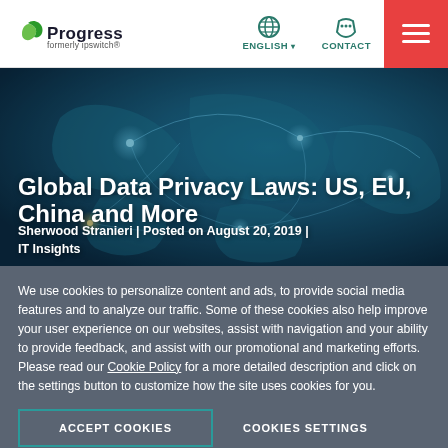Progress formerly ipswitch | ENGLISH | CONTACT
[Figure (screenshot): Hero banner with world map network graphic background showing global connections with glowing nodes]
Global Data Privacy Laws: US, EU, China and More
Sherwood Stranieri | Posted on August 20, 2019 | IT Insights
We use cookies to personalize content and ads, to provide social media features and to analyze our traffic. Some of these cookies also help improve your user experience on our websites, assist with navigation and your ability to provide feedback, and assist with our promotional and marketing efforts. Please read our Cookie Policy for a more detailed description and click on the settings button to customize how the site uses cookies for you.
ACCEPT COOKIES | COOKIES SETTINGS